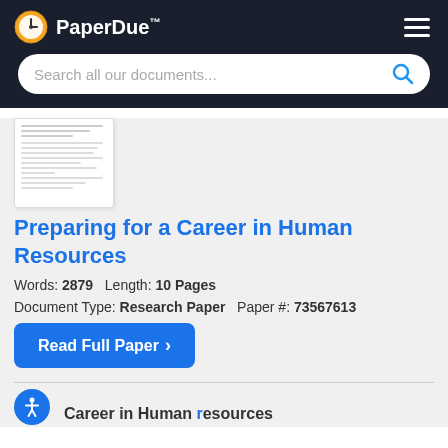PaperDue™
[Figure (screenshot): Search bar with placeholder text 'Search all our documents...' and blue search icon, on dark background]
[Figure (screenshot): Thumbnail preview of a document page with text lines]
Preparing for a Career in Human Resources
Words: 2879   Length: 10 Pages
Document Type: Research Paper   Paper #: 73567613
Read Full Paper ›
Career in Human Resources